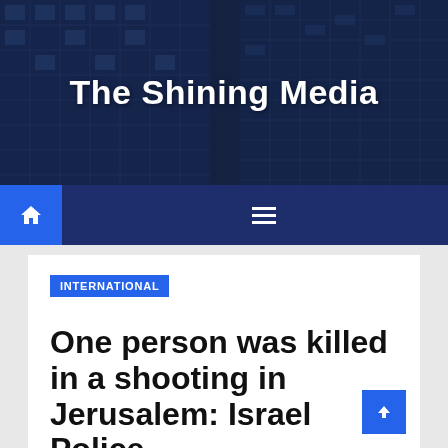The Shining Media
[Figure (screenshot): Navigation bar with home icon button and hamburger menu icon on dark navy background]
INTERNATIONAL
One person was killed in a shooting in Jerusalem: Israel Police